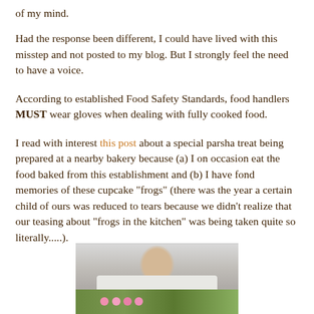of my mind.
Had the response been different, I could have lived with this misstep and not posted to my blog. But I strongly feel the need to have a voice.
According to established Food Safety Standards, food handlers MUST wear gloves when dealing with fully cooked food.
I read with interest this post about a special parsha treat being prepared at a nearby bakery because (a) I on occasion eat the food baked from this establishment and (b) I have fond memories of these cupcake "frogs" (there was the year a certain child of ours was reduced to tears because we didn't realize that our teasing about "frogs in the kitchen" was being taken quite so literally.....).
[Figure (photo): A person in a white shirt decorating or handling pink cupcakes/treats at a table with green items visible.]